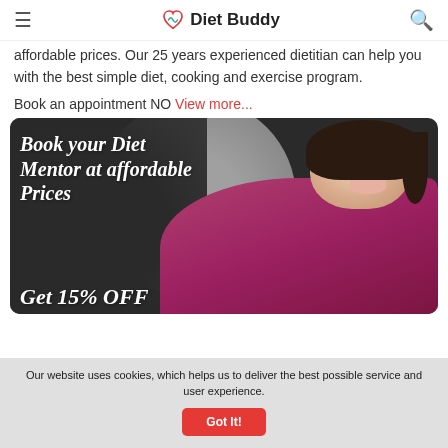Diet Buddy
affordable prices. Our 25 years experienced dietitian can help you with the best simple diet, cooking and exercise program.
Book an appointment NO View more...
[Figure (photo): Promotional banner image of a smiling woman in a pink/magenta top with text overlay 'Book your Diet Mentor at affordable Prices' and partial text 'Get 15% OFF' at the bottom]
Our website uses cookies, which helps us to deliver the best possible service and user experience. Got It!